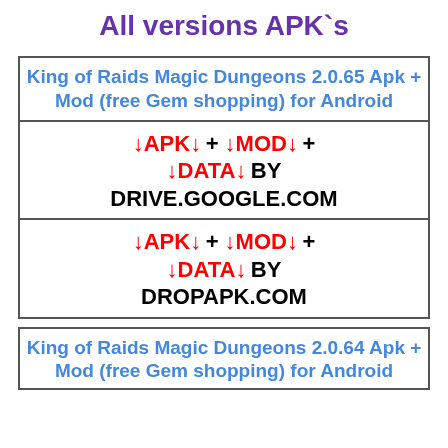All versions APK`s
| King of Raids Magic Dungeons 2.0.65 Apk + Mod (free Gem shopping) for Android |
| ↓APK↓ + ↓MOD↓ + ↓DATA↓ BY DRIVE.GOOGLE.COM |
| ↓APK↓ + ↓MOD↓ + ↓DATA↓ BY DROPAPK.COM |
| King of Raids Magic Dungeons 2.0.64 Apk + Mod (free Gem shopping) for Android |